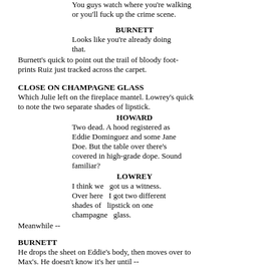You guys watch where you're walking or you'll fuck up the crime scene.
BURNETT
Looks like you're already doing that.
Burnett's quick to point out the trail of bloody footprints Ruiz just tracked across the carpet.
CLOSE ON CHAMPAGNE GLASS
Which Julie left on the fireplace mantel. Lowrey's quick to note the two separate shades of lipstick.
HOWARD
Two dead. A hood registered as Eddie Dominguez and some Jane Doe. But the table over there's covered in high-grade dope. Sound familiar?
LOWREY
I think we   got us a witness. Over here   I got two different shades of   lipstick on one champagne   glass.
Meanwhile --
BURNETT
He drops the sheet on Eddie's body, then moves over to Max's. He doesn't know it's her until --
BURNETT
Jesus, no...
LOWREY